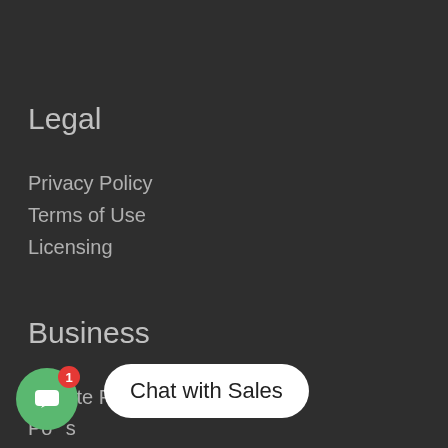Legal
Privacy Policy
Terms of Use
Licensing
Business
Affiliate Programs
Po...s
Bu...In...
[Figure (screenshot): Green circular chat widget button with a speech bubble icon, a red badge showing '1', and a white rounded tooltip saying 'Chat with Sales']